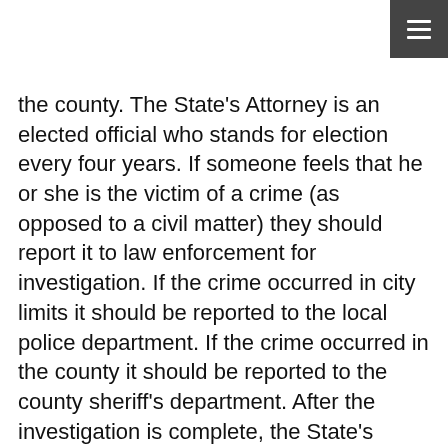the county. The State's Attorney is an elected official who stands for election every four years. If someone feels that he or she is the victim of a crime (as opposed to a civil matter) they should report it to law enforcement for investigation. If the crime occurred in city limits it should be reported to the local police department. If the crime occurred in the county it should be reported to the county sheriff's department. After the investigation is complete, the State's Attorney's Office will review the matter and make a determination whether criminal charges will be filed and what the charges will be. The Victim/Witness Coordinator will notify victims of any upcoming court proceedings or open plea recommendations pertaining to their case. There is no fee for any services of the State's Attorney's